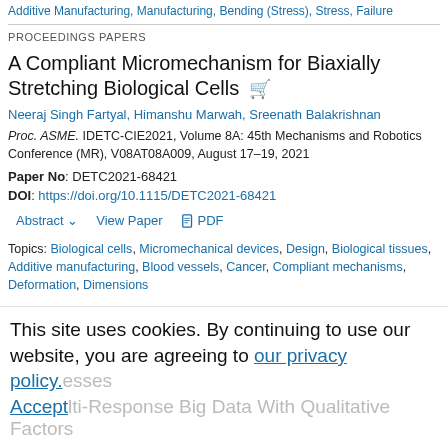Additive Manufacturing, Manufacturing, Bending (Stress), Stress, Failure
PROCEEDINGS PAPERS
A Compliant Micromechanism for Biaxially Stretching Biological Cells
Neeraj Singh Fartyal, Himanshu Marwah, Sreenath Balakrishnan
Proc. ASME. IDETC-CIE2021, Volume 8A: 45th Mechanisms and Robotics Conference (MR), V08AT08A009, August 17–19, 2021
Paper No: DETC2021-68421
DOI: https://doi.org/10.1115/DETC2021-68421
Abstract  View Paper  PDF
Topics: Biological cells, Micromechanical devices, Design, Biological tissues, Additive manufacturing, Blood vessels, Cancer, Compliant mechanisms, Deformation, Dimensions
This site uses cookies. By continuing to use our website, you are agreeing to our privacy policy. Accept